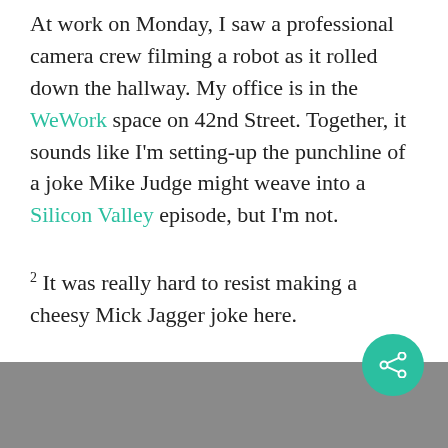At work on Monday, I saw a professional camera crew filming a robot as it rolled down the hallway. My office is in the WeWork space on 42nd Street. Together, it sounds like I'm setting-up the punchline of a joke Mike Judge might weave into a Silicon Valley episode, but I'm not.
2 It was really hard to resist making a cheesy Mick Jagger joke here.